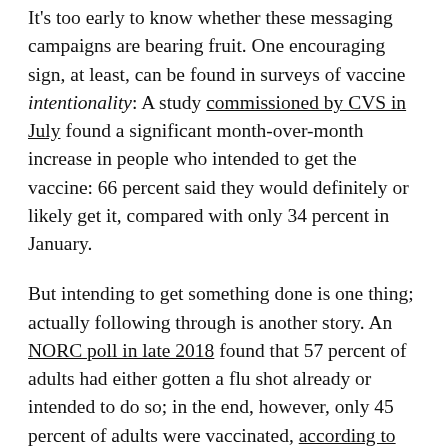It's too early to know whether these messaging campaigns are bearing fruit. One encouraging sign, at least, can be found in surveys of vaccine intentionality: A study commissioned by CVS in July found a significant month-over-month increase in people who intended to get the vaccine: 66 percent said they would definitely or likely get it, compared with only 34 percent in January.
But intending to get something done is one thing; actually following through is another story. An NORC poll in late 2018 found that 57 percent of adults had either gotten a flu shot already or intended to do so; in the end, however, only 45 percent of adults were vaccinated, according to the CDC.
All things considered, America's pandemic response has been going reasonably well recently: Large swaths of the economy have reopened, millions of children